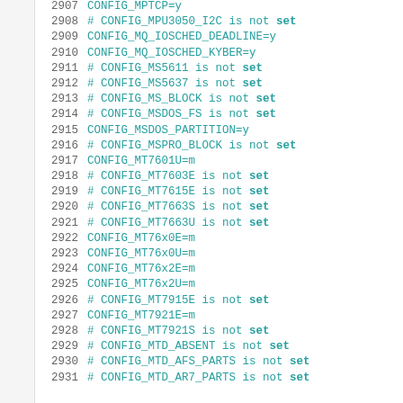2907  CONFIG_MPTCP=y
2908  # CONFIG_MPU3050_I2C is not set
2909  CONFIG_MQ_IOSCHED_DEADLINE=y
2910  CONFIG_MQ_IOSCHED_KYBER=y
2911  # CONFIG_MS5611 is not set
2912  # CONFIG_MS5637 is not set
2913  # CONFIG_MS_BLOCK is not set
2914  # CONFIG_MSDOS_FS is not set
2915  CONFIG_MSDOS_PARTITION=y
2916  # CONFIG_MSPRO_BLOCK is not set
2917  CONFIG_MT7601U=m
2918  # CONFIG_MT7603E is not set
2919  # CONFIG_MT7615E is not set
2920  # CONFIG_MT7663S is not set
2921  # CONFIG_MT7663U is not set
2922  CONFIG_MT76x0E=m
2923  CONFIG_MT76x0U=m
2924  CONFIG_MT76x2E=m
2925  CONFIG_MT76x2U=m
2926  # CONFIG_MT7915E is not set
2927  CONFIG_MT7921E=m
2928  # CONFIG_MT7921S is not set
2929  # CONFIG_MTD_ABSENT is not set
2930  # CONFIG_MTD_AFS_PARTS is not set
2931  # CONFIG_MTD_AR7_PARTS is not set